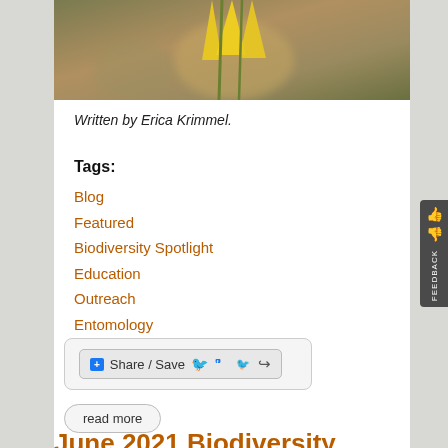[Figure (photo): Partial view of a yellow flower or plant with blurred olive/brown background]
Written by Erica Krimmel.
Tags:
Blog
Featured
Biodiversity Spotlight
Education
Outreach
Entomology
Paleontology
[Figure (other): Share / Save social sharing button with Facebook and Twitter icons]
read more
June 2021 Biodiversity